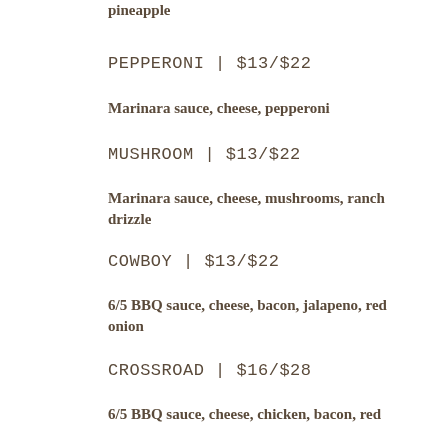Marinara sauce, cheese, ham, bacon, pineapple
PEPPERONI | $13/$22
Marinara sauce, cheese, pepperoni
MUSHROOM | $13/$22
Marinara sauce, cheese, mushrooms, ranch drizzle
COWBOY | $13/$22
6/5 BBQ sauce, cheese, bacon, jalapeno, red onion
CROSSROAD | $16/$28
6/5 BBQ sauce, cheese, chicken, bacon, red onion, ranch drizzle
BUFFALO | $16/$28
Ranch base sauce, chicken, cheese, hot sauce